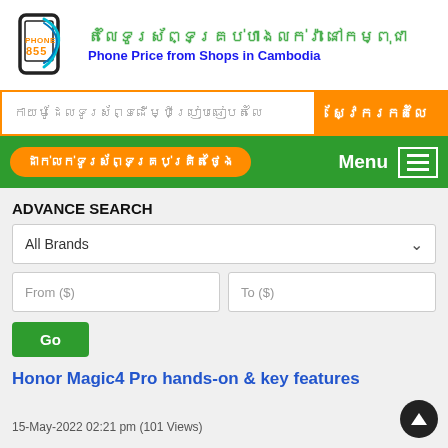[Figure (logo): Phone855 logo — stylized phone icon with blue/dark outline and cyan swirl, text PHONE 855]
តំលៃទូរស័ព្ទគ្រប់ហាងលក់រ៉ា នៅកម្ពុជា
Phone Price from Shops in Cambodia
កាយម៉ូដែលទូរស័ព្ទដើម្បីប្រៀបធៀបតំលៃ
ស្វែករកតំលៃ
ដាក់លក់ទូរស័ព្ទគ្រប់គ្រិតថ្ងៃ
Menu
ADVANCE SEARCH
All Brands
From ($)
To ($)
Go
Honor Magic4 Pro hands-on & key features
15-May-2022 02:21 pm  (101 Views)